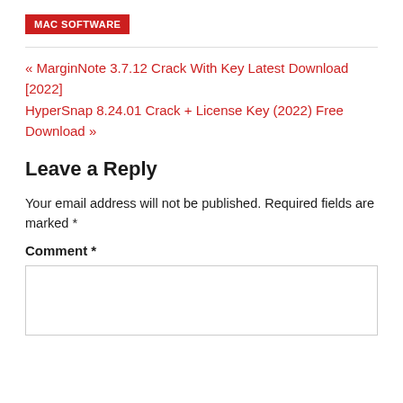MAC SOFTWARE
« MarginNote 3.7.12 Crack With Key Latest Download [2022]
HyperSnap 8.24.01 Crack + License Key (2022) Free Download »
Leave a Reply
Your email address will not be published. Required fields are marked *
Comment *